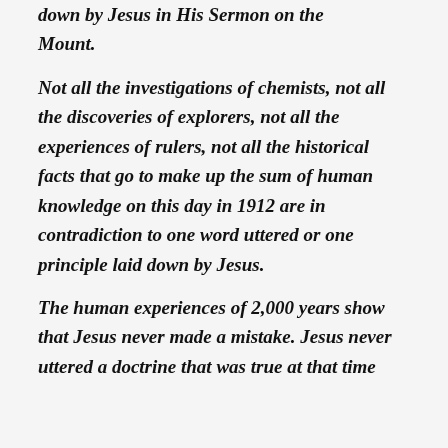down by Jesus in His Sermon on the Mount.
Not all the investigations of chemists, not all the discoveries of explorers, not all the experiences of rulers, not all the historical facts that go to make up the sum of human knowledge on this day in 1912 are in contradiction to one word uttered or one principle laid down by Jesus.
The human experiences of 2,000 years show that Jesus never made a mistake. Jesus never uttered a doctrine that was true at that time